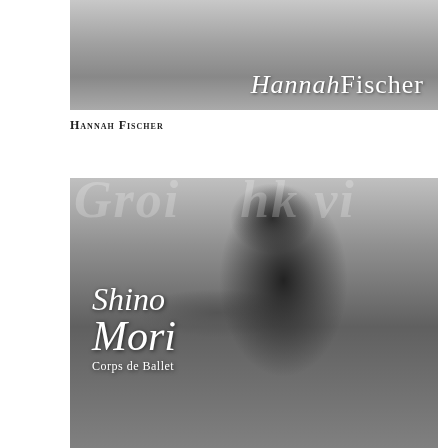[Figure (photo): Black and white photograph with the name 'Hannah Fischer' overlaid in italic serif font, appearing to be a ballet dancer portrait or artistic photo]
Hannah Fischer
[Figure (photo): Black and white portrait photograph of Shino Mori, Corps de Ballet dancer, leaning against a wall with one hand behind her head, wearing a black sleeveless top and jeans. Text overlay reads 'Shino Mori, Corps de Ballet'. Partial text visible at top of image.]